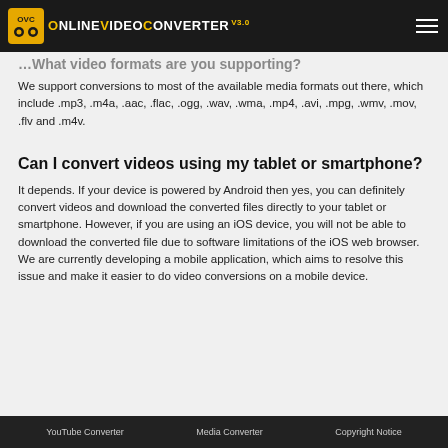OnlineVideoConverter v3.0
We support conversions to most of the available media formats out there, which include .mp3, .m4a, .aac, .flac, .ogg, .wav, .wma, .mp4, .avi, .mpg, .wmv, .mov, .flv and .m4v.
Can I convert videos using my tablet or smartphone?
It depends. If your device is powered by Android then yes, you can definitely convert videos and download the converted files directly to your tablet or smartphone. However, if you are using an iOS device, you will not be able to download the converted file due to software limitations of the iOS web browser. We are currently developing a mobile application, which aims to resolve this issue and make it easier to do video conversions on a mobile device.
YouTube Converter   Media Converter   Copyright Notice